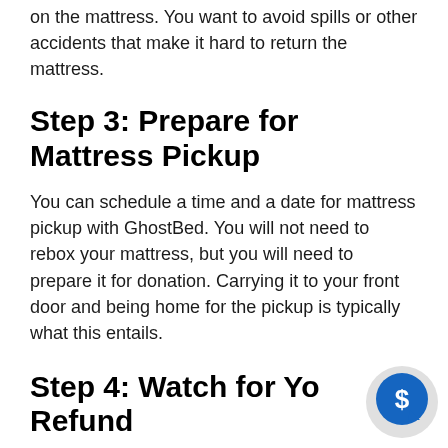on the mattress. You want to avoid spills or other accidents that make it hard to return the mattress.
Step 3: Prepare for Mattress Pickup
You can schedule a time and a date for mattress pickup with GhostBed. You will not need to rebox your mattress, but you will need to prepare it for donation. Carrying it to your front door and being home for the pickup is typically what this entails.
Step 4: Watch for Your Refund